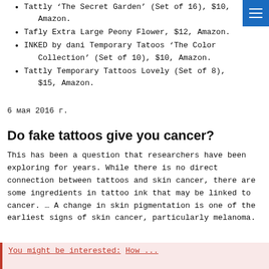Tattly 'The Secret Garden' (Set of 16), $10, Amazon.
Tafly Extra Large Peony Flower, $12, Amazon.
INKED by dani Temporary Tatoos 'The Color Collection' (Set of 10), $10, Amazon.
Tattly Temporary Tattoos Lovely (Set of 8), $15, Amazon.
6 мая 2016 г.
Do fake tattoos give you cancer?
This has been a question that researchers have been exploring for years. While there is no direct connection between tattoos and skin cancer, there are some ingredients in tattoo ink that may be linked to cancer. … A change in skin pigmentation is one of the earliest signs of skin cancer, particularly melanoma.
You might be interested: How ...